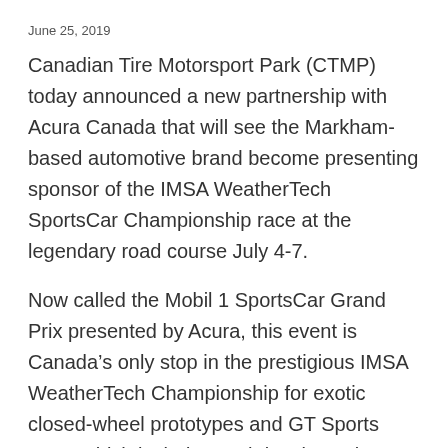June 25, 2019
Canadian Tire Motorsport Park (CTMP) today announced a new partnership with Acura Canada that will see the Markham-based automotive brand become presenting sponsor of the IMSA WeatherTech SportsCar Championship race at the legendary road course July 4-7.
Now called the Mobil 1 SportsCar Grand Prix presented by Acura, this event is Canada’s only stop in the prestigious IMSA WeatherTech Championship for exotic closed-wheel prototypes and GT Sports Cars, which includes such iconic tracks as Daytona,